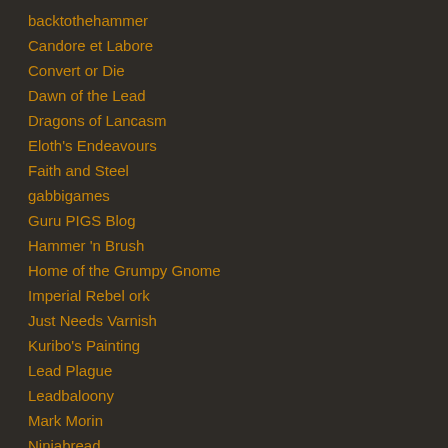backtothehammer
Candore et Labore
Convert or Die
Dawn of the Lead
Dragons of Lancasm
Eloth's Endeavours
Faith and Steel
gabbigames
Guru PIGS Blog
Hammer 'n Brush
Home of the Grumpy Gnome
Imperial Rebel ork
Just Needs Varnish
Kuribo's Painting
Lead Plague
Leadbaloony
Mark Morin
Ninjabread
Not by Strength, By Guile
Rantings from Under the Wargames Table
Redthoraxxx